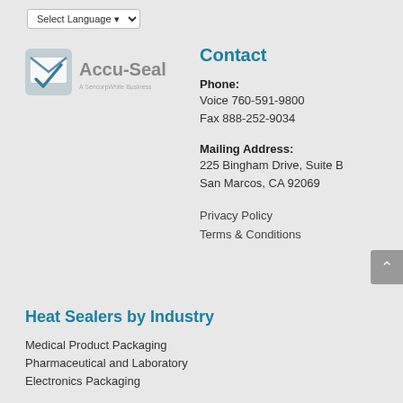[Figure (logo): Accu-Seal logo with envelope icon and text 'A SencorpWhite Business']
Contact
Phone:
Voice 760-591-9800
Fax 888-252-9034
Mailing Address:
225 Bingham Drive, Suite B
San Marcos, CA 92069
Privacy Policy
Terms & Conditions
Heat Sealers by Industry
Medical Product Packaging
Pharmaceutical and Laboratory
Electronics Packaging